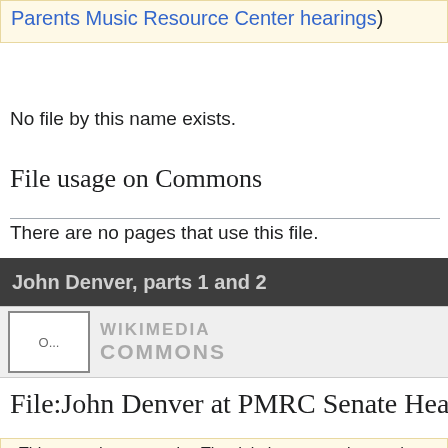Parents Music Resource Center hearings)
No file by this name exists.
File usage on Commons
There are no pages that use this file.
John Denver, parts 1 and 2
[Figure (logo): Wikimedia Commons logo with text WIKIMEDIA COMMONS]
File:John Denver at PMRC Senate Hea
This page does not exist. The deletion, protection, and m